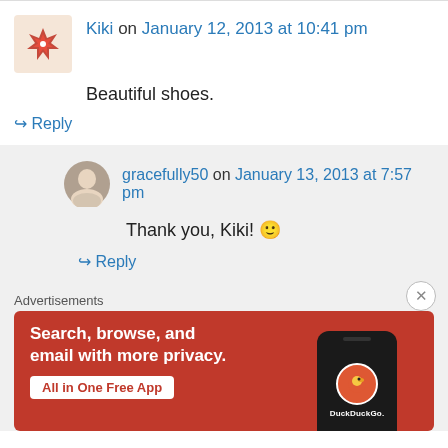Kiki on January 12, 2013 at 10:41 pm
Beautiful shoes.
↳ Reply
gracefully50 on January 13, 2013 at 7:57 pm
Thank you, Kiki! 🙂
↳ Reply
Advertisements
[Figure (screenshot): DuckDuckGo advertisement banner: orange/red background with text 'Search, browse, and email with more privacy. All in One Free App' and DuckDuckGo logo on a phone mockup]